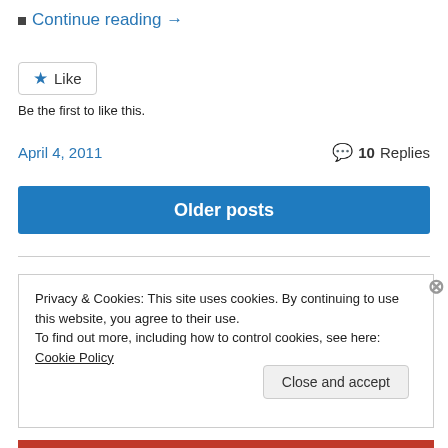Continue reading →
Like
Be the first to like this.
April 4, 2011   10 Replies
Older posts
Privacy & Cookies: This site uses cookies. By continuing to use this website, you agree to their use.
To find out more, including how to control cookies, see here: Cookie Policy
Close and accept